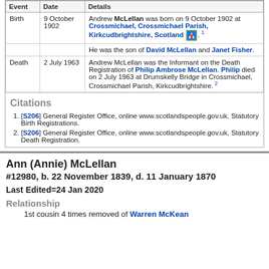| Event | Date | Details |
| --- | --- | --- |
| Birth | 9 October 1902 | Andrew McLellan was born on 9 October 1902 at Crossmichael, Crossmichael Parish, Kirkcudbrightshire, Scotland [map]. 1
He was the son of David McLellan and Janet Fisher. |
| Death | 2 July 1963 | Andrew McLellan was the Informant on the Death Registration of Philip Ambrose McLellan. Philip died on 2 July 1963 at Drumskelly Bridge in Crossmichael, Crossmichael Parish, Kirkcudbrightshire. 2 |
Citations
[S206] General Register Office, online www.scotlandspeople.gov.uk, Statutory Birth Registrations.
[S206] General Register Office, online www.scotlandspeople.gov.uk, Statutory Death Registration.
Ann (Annie) McLellan
#12980, b. 22 November 1839, d. 11 January 1870
Last Edited=24 Jan 2020
Relationship
1st cousin 4 times removed of Warren McKean